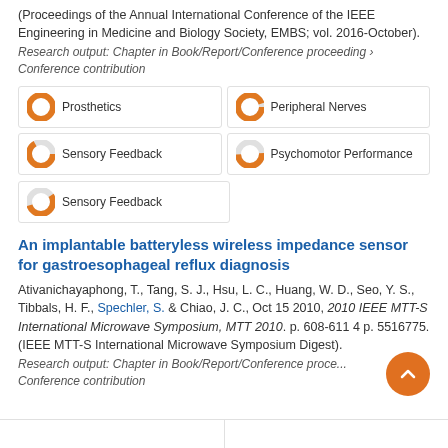(Proceedings of the Annual International Conference of the IEEE Engineering in Medicine and Biology Society, EMBS; vol. 2016-October).
Research output: Chapter in Book/Report/Conference proceeding › Conference contribution
Prosthetics
Peripheral Nerves
Sensory Feedback
Psychomotor Performance
Sensory Feedback
An implantable batteryless wireless impedance sensor for gastroesophageal reflux diagnosis
Ativanichayaphong, T., Tang, S. J., Hsu, L. C., Huang, W. D., Seo, Y. S., Tibbals, H. F., Spechler, S. & Chiao, J. C., Oct 15 2010, 2010 IEEE MTT-S International Microwave Symposium, MTT 2010. p. 608-611 4 p. 5516775. (IEEE MTT-S International Microwave Symposium Digest).
Research output: Chapter in Book/Report/Conference proceeding › Conference contribution